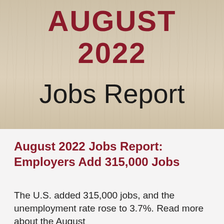[Figure (photo): Cover image with wood-textured background showing 'AUGUST 2022' in dark red bold text and 'Jobs Report' in large black text below]
August 2022 Jobs Report: Employers Add 315,000 Jobs
The U.S. added 315,000 jobs, and the unemployment rate rose to 3.7%. Read more about the August